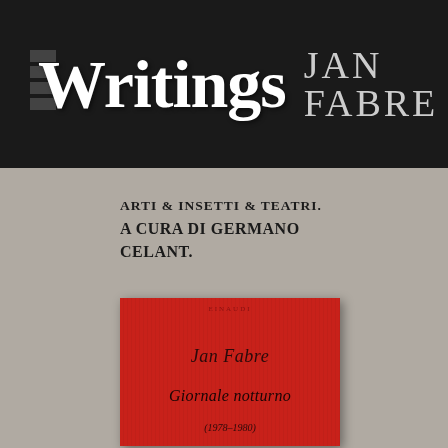Writings JAN FABRE
ARTI & INSETTI & TEATRI. A CURA DI GERMANO CELANT.
[Figure (photo): Red book cover of 'Giornale notturno (1978-1980)' by Jan Fabre, with vertical stripe texture. Publisher name at top, author name 'Jan Fabre' in italic, title 'Giornale notturno' in italic, subtitle date range '(1978-1980)'.]